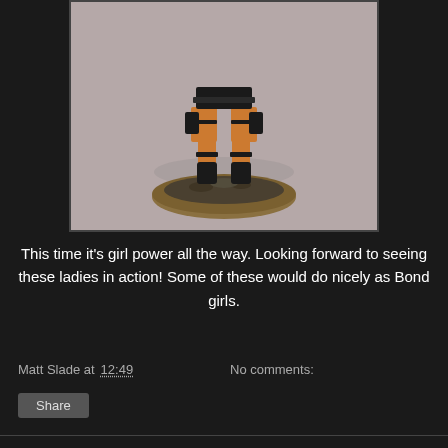[Figure (photo): Close-up photo of a painted miniature figurine (female character with tactical gear, orange skin tones, black boots and holsters) standing on a textured round base with dark gravel and sandy texture. The figure's legs and base are visible, set against a neutral grey/beige background.]
This time it's girl power all the way. Looking forward to seeing these ladies in action! Some of these would do nicely as Bond girls.
Matt Slade at 12:49    No comments:
Share